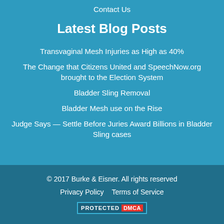Contact Us
Latest Blog Posts
Transvaginal Mesh Injuries as High as 40%
The Change that Citizens United and SpeechNow.org brought to the Election System
Bladder Sling Removal
Bladder Mesh use on the Rise
Judge Says — Settle Before Juries Award Billions in Bladder Sling cases
© 2017 Burke & Eisner. All rights reserved
Privacy Policy    Terms of Service
PROTECTED DMCA